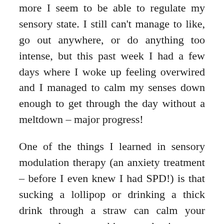more I seem to be able to regulate my sensory state. I still can't manage to like, go out anywhere, or do anything too intense, but this past week I had a few days where I woke up feeling overwired and I managed to calm my senses down enough to get through the day without a meltdown – major progress!
One of the things I learned in sensory modulation therapy (an anxiety treatment – before I even knew I had SPD!) is that sucking a lollipop or drinking a thick drink through a straw can calm your system down, so this cupcake is super thematic!